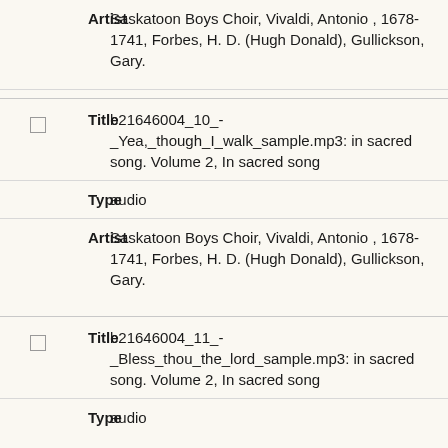| Field | Value |
| --- | --- |
| Artist | Saskatoon Boys Choir, Vivaldi, Antonio , 1678-1741, Forbes, H. D. (Hugh Donald), Gullickson, Gary. |
| Title | b21646004_10_-_Yea,_though_I_walk_sample.mp3: in sacred song. Volume 2, In sacred song |
| Type | audio |
| Artist | Saskatoon Boys Choir, Vivaldi, Antonio , 1678-1741, Forbes, H. D. (Hugh Donald), Gullickson, Gary. |
| Title | b21646004_11_-_Bless_thou_the_lord_sample.mp3: in sacred song. Volume 2, In sacred song |
| Type | audio |